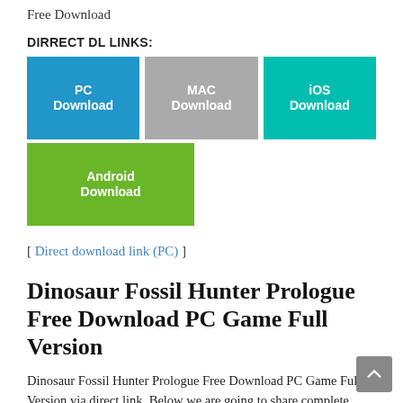Free Download
DIRRECT DL LINKS:
[Figure (infographic): Four download buttons: PC Download (blue), MAC Download (gray), iOS Download (teal), Android Download (green)]
[ Direct download link (PC) ]
Dinosaur Fossil Hunter Prologue Free Download PC Game Full Version
Dinosaur Fossil Hunter Prologue Free Download PC Game Full Version via direct link. Below we are going to share complete information about Stygian Dinosaur Fossil Hunter Prologue with screenshots, game-play, user reviews, and much more. If you are in a hurry and don't want to read about Stygian Dinosaur Fossil Hunter Prologue, just click the direct download button.